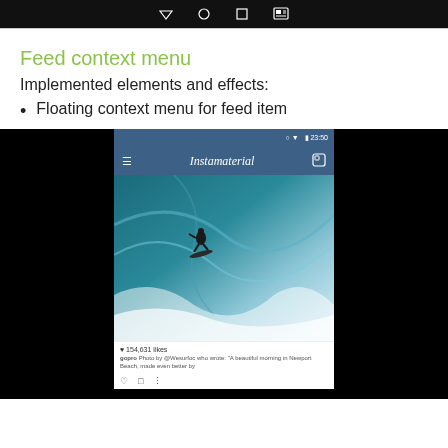[Figure (screenshot): Android navigation bar at top of screen showing back, home, recents, and menu icons on black background]
Feed context menu
Implemented elements and effects:
Floating context menu for feed item
[Figure (screenshot): Android phone screenshot showing Instamaterial app with a surfer photo, 154,631 likes, gopro caption, and action icons]